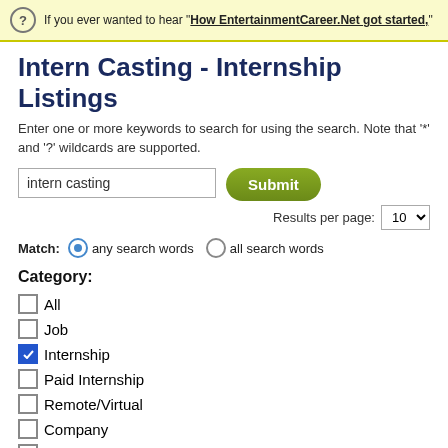If you ever wanted to hear "How EntertainmentCareer.Net got started,"
Intern Casting - Internship Listings
Enter one or more keywords to search for using the search. Note that '*' and '?' wildcards are supported.
intern casting [search input] Submit
Results per page: 10
Match: any search words  all search words
Category:
All
Job
Internship
Paid Internship
Remote/Virtual
Company
Support
All [dropdown]